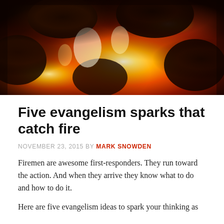[Figure (photo): Close-up photograph of burning coal embers with bright orange and yellow flames glowing between dark charcoal chunks]
Five evangelism sparks that catch fire
NOVEMBER 23, 2015 BY MARK SNOWDEN
Firemen are awesome first-responders. They run toward the action. And when they arrive they know what to do and how to do it.
Here are five evangelism ideas to spark your thinking as